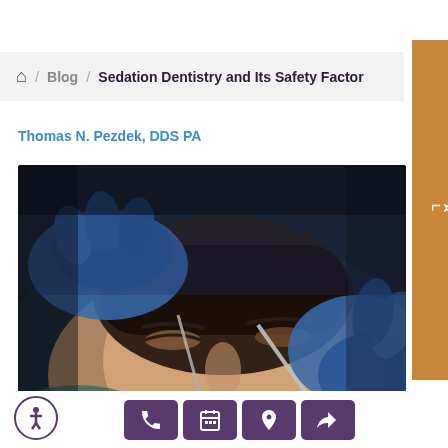Home / Blog / Sedation Dentistry and Its Safety Factor
Thomas N. Pezdek, DDS PA
[Figure (photo): A woman with closed eyes and open mouth receiving dental treatment from a dentist wearing blue gloves, holding dental instruments]
SPECIAL OFFER
Accessibility, Phone, Calendar, Location, Share toolbar icons